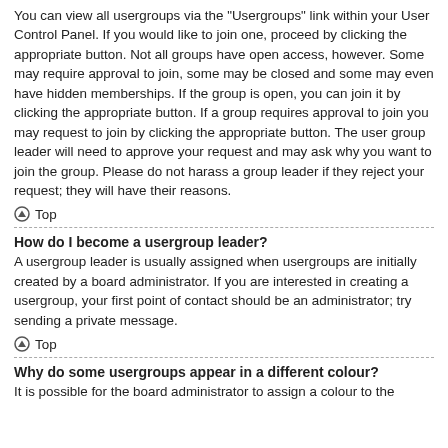You can view all usergroups via the "Usergroups" link within your User Control Panel. If you would like to join one, proceed by clicking the appropriate button. Not all groups have open access, however. Some may require approval to join, some may be closed and some may even have hidden memberships. If the group is open, you can join it by clicking the appropriate button. If a group requires approval to join you may request to join by clicking the appropriate button. The user group leader will need to approve your request and may ask why you want to join the group. Please do not harass a group leader if they reject your request; they will have their reasons.
⊙ Top
How do I become a usergroup leader?
A usergroup leader is usually assigned when usergroups are initially created by a board administrator. If you are interested in creating a usergroup, your first point of contact should be an administrator; try sending a private message.
⊙ Top
Why do some usergroups appear in a different colour?
It is possible for the board administrator to assign a colour to the